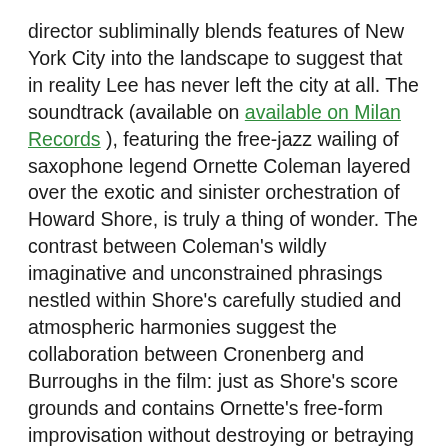director subliminally blends features of New York City into the landscape to suggest that in reality Lee has never left the city at all. The soundtrack (available on available on Milan Records ), featuring the free-jazz wailing of saxophone legend Ornette Coleman layered over the exotic and sinister orchestration of Howard Shore, is truly a thing of wonder. The contrast between Coleman's wildly imaginative and unconstrained phrasings nestled within Shore's carefully studied and atmospheric harmonies suggest the collaboration between Cronenberg and Burroughs in the film: just as Shore's score grounds and contains Ornette's free-form improvisation without destroying or betraying it, Cronenberg's film world creates a space that can be decorated by Burroughs' wild spirit.
What Cronenberg ultimately achieves in Naked Lunch is to tap into the iconography of William S. Burroughs. Burroughs's greatest creation was not any of his writings, but himself. This drug-addicted author became the modern romantic archetype of the artist: tortured, but completely free of social convention